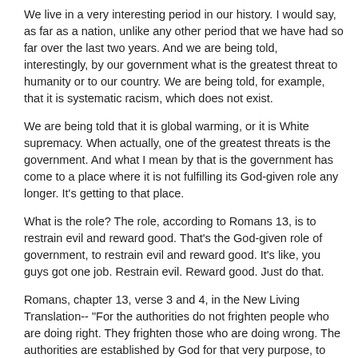We live in a very interesting period in our history. I would say, as far as a nation, unlike any other period that we have had so far over the last two years. And we are being told, interestingly, by our government what is the greatest threat to humanity or to our country. We are being told, for example, that it is systematic racism, which does not exist.
We are being told that it is global warming, or it is White supremacy. When actually, one of the greatest threats is the government. And what I mean by that is the government has come to a place where it is not fulfilling its God-given role any longer. It's getting to that place.
What is the role? The role, according to Romans 13, is to restrain evil and reward good. That's the God-given role of government, to restrain evil and reward good. It's like, you guys got one job. Restrain evil. Reward good. Just do that.
Romans, chapter 13, verse 3 and 4, in the New Living Translation-- "For the authorities do not frighten people who are doing right. They frighten those who are doing wrong. The authorities are established by God for that very purpose, to punish those who do wrong."
But not always-- that's what God called them to do. That is the role of government, but it didn't always work that way. Because the one who wrote those words was a guy by the name of Paul the apostle, a man who was in violation of government probably more than any other person in the New